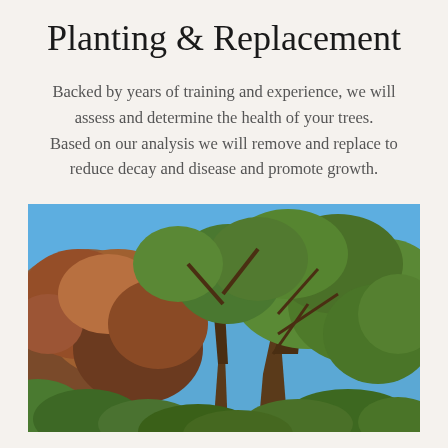Planting & Replacement
Backed by years of training and experience, we will assess and determine the health of your trees. Based on our analysis we will remove and replace to reduce decay and disease and promote growth.
[Figure (photo): Outdoor photograph of large trees with spreading branches against a bright blue sky. The left side shows reddish-brown foliage (possibly diseased or autumn color), while the center and right show green leafy canopy. Lush green shrubs and vegetation are visible in the lower and background areas.]